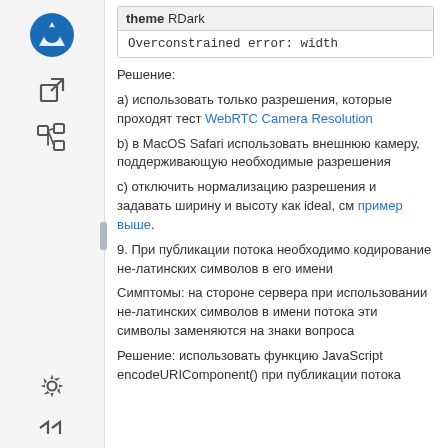[Figure (screenshot): Sidebar with navigation icons: blue circular logo, external link icon, tree/hierarchy icon, settings gear icon, double-arrow icon]
theme RDark
Overconstrained error: width
Решение:
a) использовать только разрешения, которые проходят тест WebRTC Camera Resolution
b) в MacOS Safari использовать внешнюю камеру, поддерживающую необходимые разрешения
c) отключить нормализацию разрешения и задавать ширину и высоту как ideal, см пример выше.
9. При публикации потока необходимо кодирование не-латинских символов в его имени
Симптомы: на стороне сервера при использовании не-латинских символов в имени потока эти символы заменяются на знаки вопроса
Решение: использовать функцию JavaScript encodeURIComponent() при публикации потока